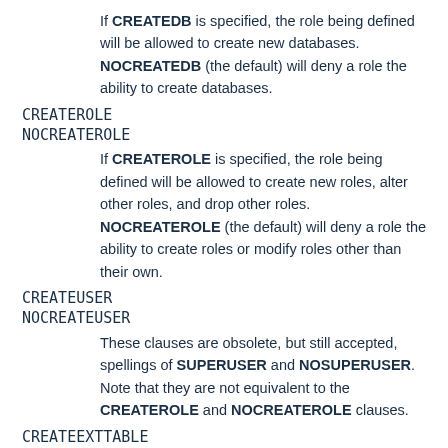If CREATEDB is specified, the role being defined will be allowed to create new databases. NOCREATEDB (the default) will deny a role the ability to create databases.
CREATEROLE
NOCREATEROLE
If CREATEROLE is specified, the role being defined will be allowed to create new roles, alter other roles, and drop other roles. NOCREATEROLE (the default) will deny a role the ability to create roles or modify roles other than their own.
CREATEUSER
NOCREATEUSER
These clauses are obsolete, but still accepted, spellings of SUPERUSER and NOSUPERUSER. Note that they are not equivalent to the CREATEROLE and NOCREATEROLE clauses.
CREATEEXTTABLE
NOCREATEEXTTABLE